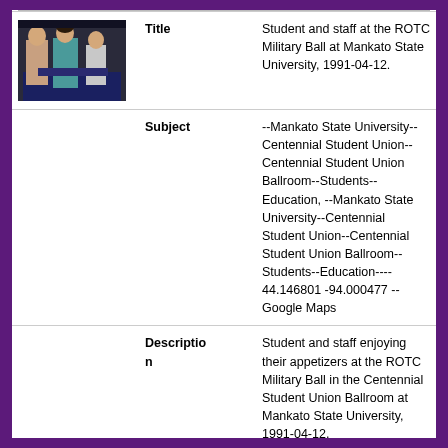[Figure (photo): Thumbnail photo of students and staff at the ROTC Military Ball at Mankato State University]
| Field | Value |
| --- | --- |
| Title | Student and staff at the ROTC Military Ball at Mankato State University, 1991-04-12. |
| Subject | --Mankato State University--Centennial Student Union--Centennial Student Union Ballroom--Students--Education, --Mankato State University--Centennial Student Union--Centennial Student Union Ballroom--Students--Education--- 44.146801 -94.000477 --Google Maps |
| Description | Student and staff enjoying their appetizers at the ROTC Military Ball in the Centennial Student Union Ballroom at Mankato State University, 1991-04-12. |
| Date | 1991-04-12 |
| MRI | msu18773 |